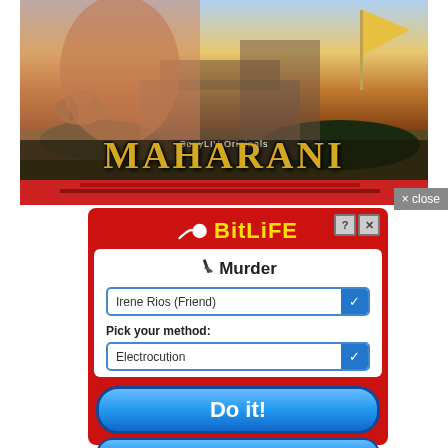[Figure (screenshot): Movie poster for 'Maharani' - SonyLIV Originals. Shows dramatic poster with actress face, cows, man with mustache, another man with glasses, and yellow flag in the background.]
× close
[Figure (screenshot): BitLife app advertisement showing a Murder dialog with dropdown to select 'Irene Rios (Friend)', method dropdown set to 'Electrocution', a blue 'Do it!' button and a 'No, what am I thinking?' button.]